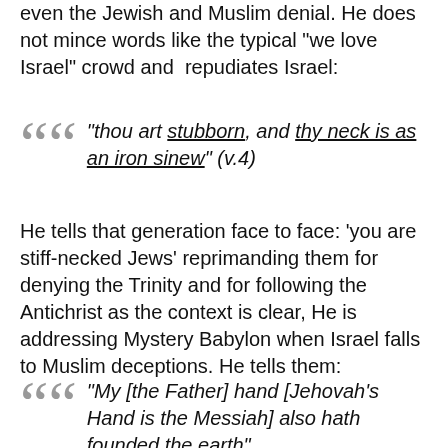even the Jewish and Muslim denial. He does not mince words like the typical "we love Israel" crowd and repudiates Israel:
"thou art stubborn, and thy neck is as an iron sinew" (v.4)
He tells that generation face to face: 'you are stiff-necked Jews' reprimanding them for denying the Trinity and for following the Antichrist as the context is clear, He is addressing Mystery Babylon when Israel falls to Muslim deceptions. He tells them:
"My [the Father] hand [Jehovah's Hand is the Messiah] also hath founded the earth"